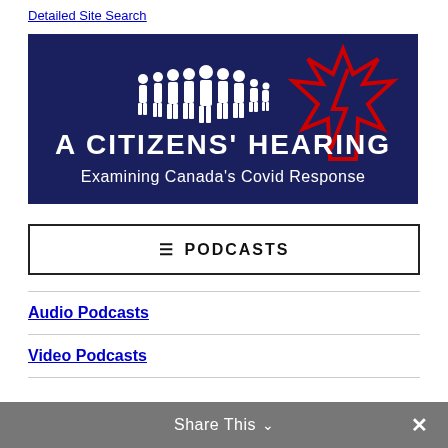Detailed Site Search
[Figure (logo): A Citizens' Hearing — Examining Canada's Covid Response. Dark navy blue banner with white silhouettes of a group of people, a red maple leaf outline on the right, and white text reading 'A CITIZENS' HEARING' and 'Examining Canada's Covid Response'.]
☰ PODCASTS
Audio Podcasts
Video Podcasts
Share This ∨  ✕